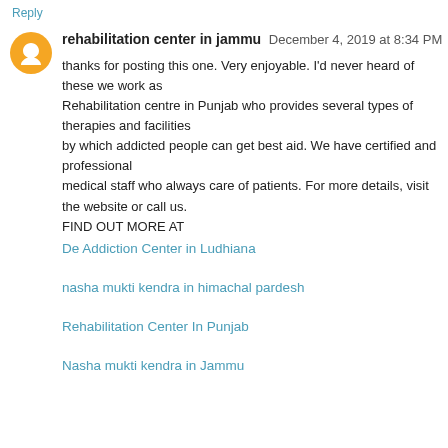Reply
rehabilitation center in jammu  December 4, 2019 at 8:34 PM
thanks for posting this one. Very enjoyable. I'd never heard of these we work as
Rehabilitation centre in Punjab who provides several types of therapies and facilities
by which addicted people can get best aid. We have certified and professional
medical staff who always care of patients. For more details, visit the website or call us.
FIND OUT MORE AT
De Addiction Center in Ludhiana
nasha mukti kendra in himachal pardesh
Rehabilitation Center In Punjab
Nasha mukti kendra in Jammu